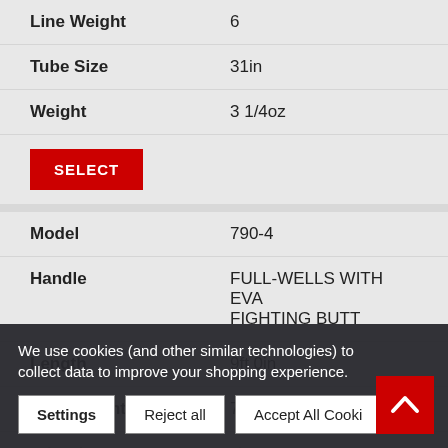| Attribute | Value |
| --- | --- |
| Line Weight | 6 |
| Tube Size | 31in |
| Weight | 3 1/4oz |
SELECT
| Attribute | Value |
| --- | --- |
| Model | 790-4 |
| Handle | FULL-WELLS WITH EVA FIGHTING BUTT |
| Length | 9ft 0in |
| Line Weight | 7 |
| Tube Size | 4in (partial) |
We use cookies (and other similar technologies) to collect data to improve your shopping experience.
Settings
Reject all
Accept All Cookies